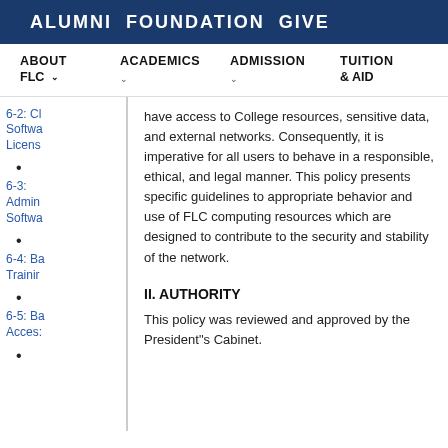ALUMNI  FOUNDATION  GIVE
ABOUT FLC   ACADEMICS   ADMISSION   TUITION & AID
6-2: Cl Software Licens
6-3: Admin Softwa
6-4: Ba Trainir
6-5: Ba Acces:
have access to College resources, sensitive data, and external networks. Consequently, it is imperative for all users to behave in a responsible, ethical, and legal manner. This policy presents specific guidelines to appropriate behavior and use of FLC computing resources which are designed to contribute to the security and stability of the network.
II. AUTHORITY
This policy was reviewed and approved by the President"s Cabinet.